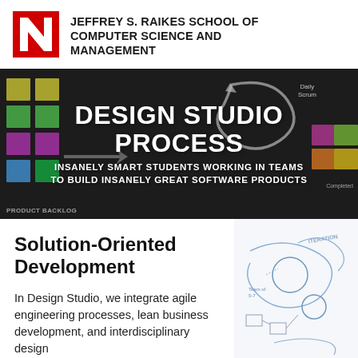JEFFREY S. RAIKES SCHOOL OF COMPUTER SCIENCE AND MANAGEMENT
[Figure (photo): Dark chalkboard background with colorful sticky notes (yellow, green, pink, purple, lime, orange) arranged in a grid pattern on the left, with agile/scrum diagram elements including an arrow loop, 'Daily Scrum' label, and 'Completed' label. White bold text overlay reads 'DESIGN STUDIO PROCESS' and below it 'INSANELY SMART STUDENTS WORKING IN TEAMS TO BUILD INSANELY GREAT SOFTWARE PRODUCTS'. 'Product Backlog' text in lower left corner.]
Solution-Oriented Development
In Design Studio, we integrate agile engineering processes, lean business development, and interdisciplinary design
[Figure (photo): Light blue/white background with handwritten-style whiteboard diagram showing flowchart with circles, arrows, and text annotations including 'ITERATION' at top right.]